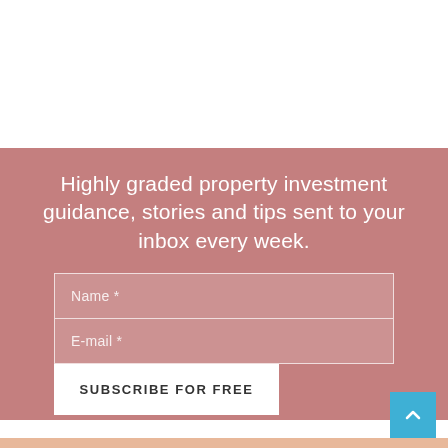Highly graded property investment guidance, stories and tips sent to your inbox every week.
Name *
E-mail *
SUBSCRIBE FOR FREE